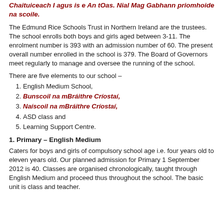Chaituiceach I agus is e An tOas. Nial Mag Gabhann priomhoide na scoile.
The Edmund Rice Schools Trust in Northern Ireland are the trustees. The school enrolls both boys and girls aged between 3-11. The enrolment number is 393 with an admission number of 60. The present overall number enrolled in the school is 379. The Board of Governors meet regularly to manage and oversee the running of the school.
There are five elements to our school –
English Medium School,
Bunscoil na mBráithre Críostaí,
Naíscoil na mBráithre Críostaí,
ASD class and
Learning Support Centre.
1. Primary – English Medium
Caters for boys and girls of compulsory school age i.e. four years old to eleven years old. Our planned admission for Primary 1 September 2012 is 40. Classes are organised chronologically, taught through English Medium and proceed thus throughout the school. The basic unit is class and teacher.